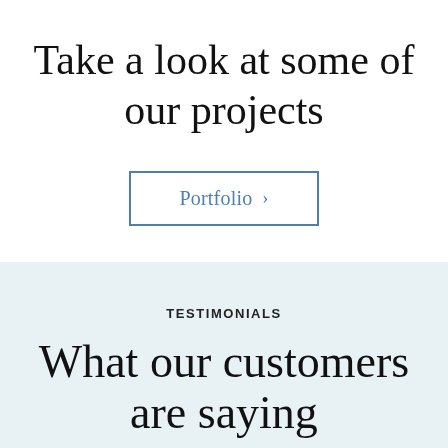Take a look at some of our projects
Portfolio >
TESTIMONIALS
What our customers are saying